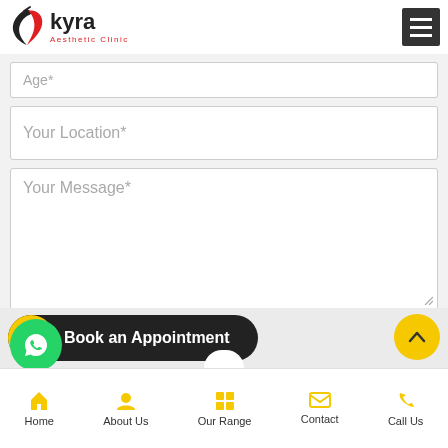[Figure (logo): Kyra Aesthetic Clinic logo with bird/wing mark in black and red]
Age*
Your Location*
Your Message*
Submit
[Figure (illustration): WhatsApp icon circle (green)]
Book an Appointment
Home  About Us  Our Range  Contact  Call Us